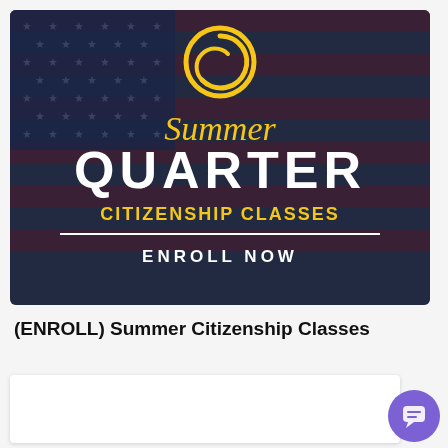[Figure (illustration): Promotional banner for Summer Quarter Citizenship Classes with American flag background, golden spiral logo, and 'ENROLL NOW' call to action]
(ENROLL) Summer Citizenship Classes
[Figure (other): White card area at the bottom of the page, partially visible]